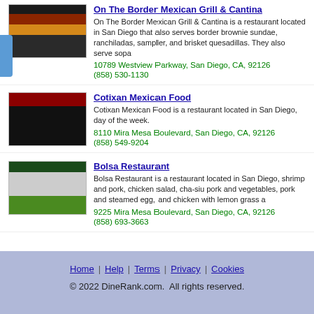[Figure (screenshot): On The Border Mexican Grill & Cantina website screenshot]
On The Border Mexican Grill & Cantina
On The Border Mexican Grill & Cantina is a restaurant located in San Diego that also serves border brownie sundae, ranchiladas, sampler, and brisket quesadillas. They also serve sopa
10789 Westview Parkway, San Diego, CA, 92126
(858) 530-1130
[Figure (screenshot): Cotixan Mexican Food website screenshot]
Cotixan Mexican Food
Cotixan Mexican Food is a restaurant located in San Diego, day of the week.
8110 Mira Mesa Boulevard, San Diego, CA, 92126
(858) 549-9204
[Figure (screenshot): Bolsa Restaurant website screenshot]
Bolsa Restaurant
Bolsa Restaurant is a restaurant located in San Diego, shrimp and pork, chicken salad, cha-siu pork and vegetables, pork and steamed egg, and chicken with lemon grass a
9225 Mira Mesa Boulevard, San Diego, CA, 92126
(858) 693-3663
Home | Help | Terms | Privacy | Cookies
© 2022 DineRank.com. All rights reserved.